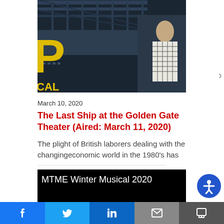[Figure (photo): Photo of a large bridge with metal girders against a dark blue sky, with a performer in a checkered outfit visible on the right side. Yellow letters 'P' and 'CAL' are partially visible on the left edge.]
March 10, 2020
The Last Ship at the Golden Gate Theater (Aired: March 11, 2020)
The plight of British laborers dealing with the changingeconomic world in the 1980's has
[Figure (photo): Black background image with white text reading 'MTME Winter Musical 2020' at top and large bold white text 'he Hunchback' at bottom (partially cropped).]
f  t  in  [email icon]  [share icon]